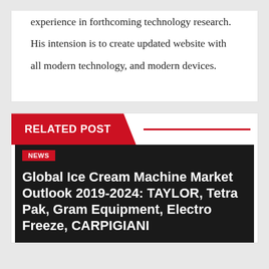experience in forthcoming technology research. His intension is to create updated website with all modern technology, and modern devices.
RELATED POST
NEWS
Global Ice Cream Machine Market Outlook 2019-2024: TAYLOR, Tetra Pak, Gram Equipment, Electro Freeze, CARPIGIANI